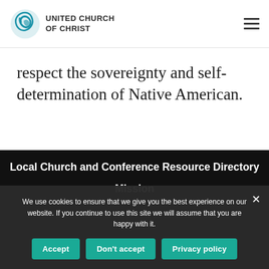UNITED CHURCH OF CHRIST
respect the sovereignty and self-determination of Native American.
Local Church and Conference Resource Directory
Mission
We use cookies to ensure that we give you the best experience on our website. If you continue to use this site we will assume that you are happy with it.